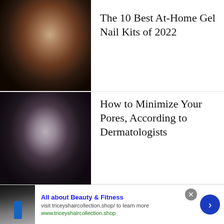[Figure (photo): Woman with curly hair and metallic eye makeup resting hand on shoulder, showing gel nails]
The 10 Best At-Home Gel Nail Kits of 2022
[Figure (photo): Young woman with short curly hair resting chin on hand, beauty/skincare context]
How to Minimize Your Pores, According to Dermatologists
[Figure (photo): Advertisement photo showing person holding blue bottle]
All about Beauty & Fitness
visit triceyshaircollection.shop/ to learn more
www.triceyshaircollection.shop